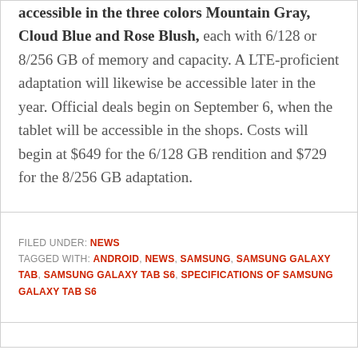accessible in the three colors Mountain Gray, Cloud Blue and Rose Blush, each with 6/128 or 8/256 GB of memory and capacity. A LTE-proficient adaptation will likewise be accessible later in the year. Official deals begin on September 6, when the tablet will be accessible in the shops. Costs will begin at $649 for the 6/128 GB rendition and $729 for the 8/256 GB adaptation.
FILED UNDER: NEWS
TAGGED WITH: ANDROID, NEWS, SAMSUNG, SAMSUNG GALAXY TAB, SAMSUNG GALAXY TAB S6, SPECIFICATIONS OF SAMSUNG GALAXY TAB S6